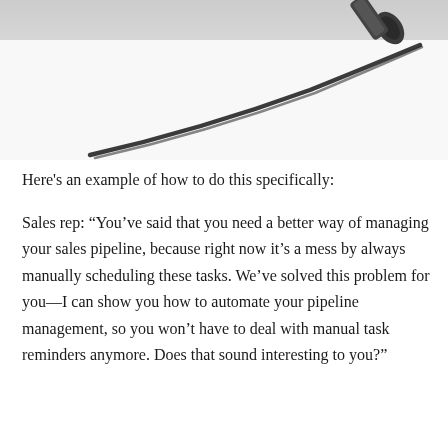[Figure (photo): A close-up photo of a pen or pencil tip drawing a dark line on a white surface, shown in black and white. The writing instrument is partially visible at the top right.]
Here's an example of how to do this specifically:
Sales rep: “You’ve said that you need a better way of managing your sales pipeline, because right now it’s a mess by always manually scheduling these tasks. We’ve solved this problem for you—I can show you how to automate your pipeline management, so you won’t have to deal with manual task reminders anymore. Does that sound interesting to you?”